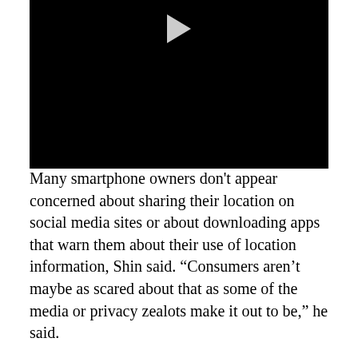[Figure (screenshot): Black video player with a grey play button triangle at the top center]
Many smartphone owners don't appear concerned about sharing their location on social media sites or about downloading apps that warn them about their use of location information, Shin said. “Consumers aren’t maybe as scared about that as some of the media or privacy zealots make it out to be,” he said.
The DAA, a self-regulatory effort allowing consumers to opt out of targeted advertising, has anticipated releasing the mobile guidelines for several months. The coalition launched guidelines